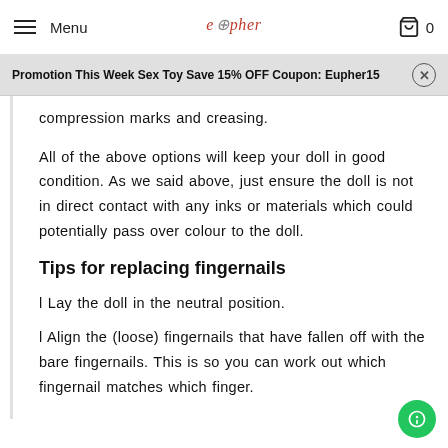Menu | eupher | 0
Promotion This Week Sex Toy Save 15% OFF Coupon: Eupher15
compression marks and creasing.
All of the above options will keep your doll in good condition. As we said above, just ensure the doll is not in direct contact with any inks or materials which could potentially pass over colour to the doll.
Tips for replacing fingernails
l Lay the doll in the neutral position.
l Align the (loose) fingernails that have fallen off with the bare fingernails. This is so you can work out which fingernail matches which finger.